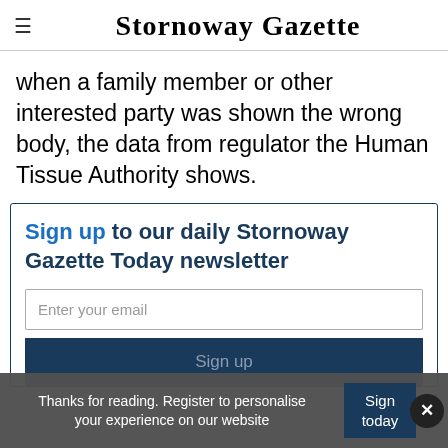Stornoway Gazette
when a family member or other interested party was shown the wrong body, the data from regulator the Human Tissue Authority shows.
Sign up to our daily Stornoway Gazette Today newsletter
Enter your email
Sign up
Thanks for reading. Register to personalise your experience on our website